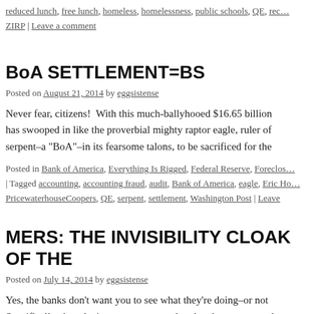reduced lunch, free lunch, homeless, homelessness, public schools, QE, rec… ZIRP | Leave a comment
BoA SETTLEMENT=BS
Posted on August 21, 2014 by eggsistense
Never fear, citizens!  With this much-ballyhooed $16.65 billion has swooped in like the proverbial mighty raptor eagle, ruler of serpent–a "BoA"–in its fearsome talons, to be sacrificed for the
Posted in Bank of America, Everything Is Rigged, Federal Reserve, Foreclos… | Tagged accounting, accounting fraud, audit, Bank of America, eagle, Eric Ho… PricewaterhouseCoopers, QE, serpent, settlement, Washington Post | Leave
MERS: THE INVISIBILITY CLOAK OF THE
Posted on July 14, 2014 by eggsistense
Yes, the banks don't want you to see what they're doing–or not Specifically, they don't want you to see that they have separated